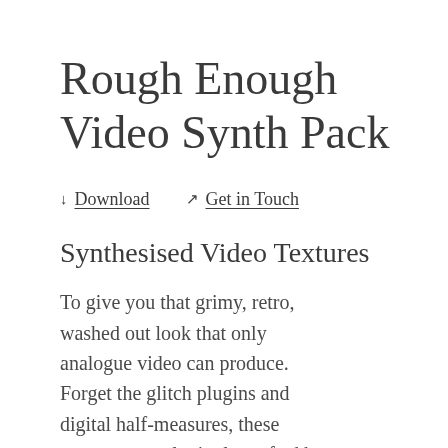Rough Enough Video Synth Pack
↓ Download    ✉ Get in Touch
Synthesised Video Textures
To give you that grimy, retro, washed out look that only analogue video can produce. Forget the glitch plugins and digital half-measures, these textures were lovingly crafted by hand with an analogue video synth…